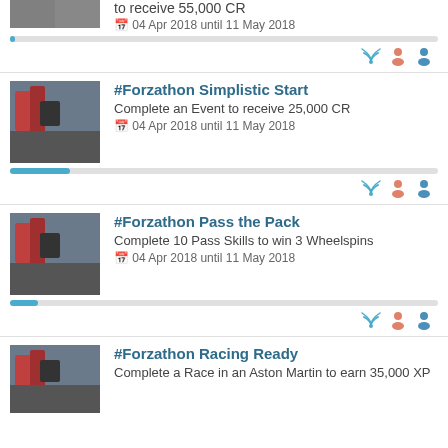to receive 55,000 CR
📅 04 Apr 2018 until 11 May 2018
#Forzathon Simplistic Start
Complete an Event to receive 25,000 CR
04 Apr 2018 until 11 May 2018
#Forzathon Pass the Pack
Complete 10 Pass Skills to win 3 Wheelspins
04 Apr 2018 until 11 May 2018
#Forzathon Racing Ready
Complete a Race in an Aston Martin to earn 35,000 XP